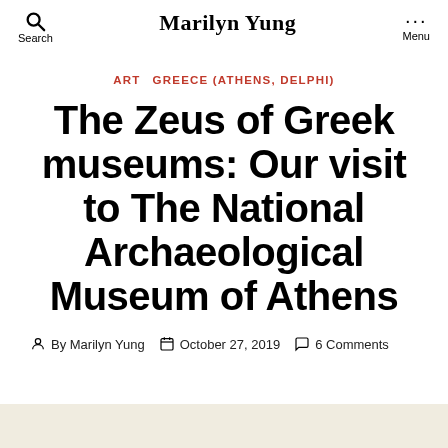Search   Marilyn Yung   Menu
ART   GREECE (ATHENS, DELPHI)
The Zeus of Greek museums: Our visit to The National Archaeological Museum of Athens
By Marilyn Yung   October 27, 2019   6 Comments